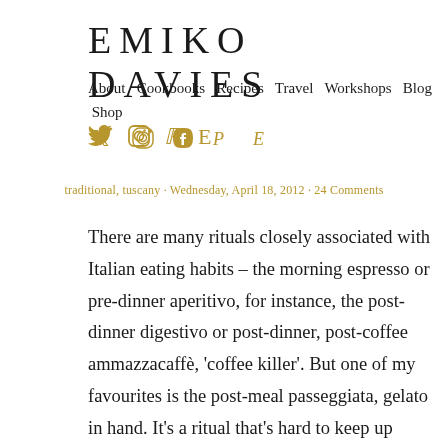EMIKO DAVIES
About  Cookbooks  Recipes  Travel  Workshops  Blog  Shop
traditional, tuscany · Wednesday, April 18, 2012 · 24 Comments
There are many rituals closely associated with Italian eating habits – the morning espresso or pre-dinner aperitivo, for instance, the post-dinner digestivo or post-dinner, post-coffee ammazzacaffè, 'coffee killer'. But one of my favourites is the post-meal passeggiata, gelato in hand. It's a ritual that's hard to keep up living outside of Italy.